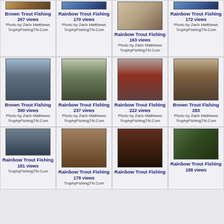[Figure (photo): Brown trout fishing photo - partial view at top]
Brown Trout Fishing
267 views
Photo by Zach Matthews TrophyFishingTN.Com
[Figure (photo): Rainbow trout fishing photo - partial view at top]
Rainbow Trout Fishing
170 views
Photo by Zach Matthews TrophyFishingTN.Com
[Figure (photo): Rainbow trout close-up on water surface]
Rainbow Trout Fishing
163 views
Photo by Zach Matthews TrophyFishingTN.Com
[Figure (photo): Rainbow trout fishing - partial view at top right]
Rainbow Trout Fishing
172 views
Photo by Zach Matthews TrophyFishingTN.Com
[Figure (photo): Angler holding large brown trout]
Brown Trout Fishing
390 views
Photo by Zach Matthews TrophyFishingTN.Com
[Figure (photo): Angler holding rainbow trout with fishing rod]
Rainbow Trout Fishing
237 views
Photo by Zach Matthews TrophyFishingTN.Com
[Figure (photo): Angler in red jacket holding rainbow trout]
Rainbow Trout Fishing
222 views
Photo by Zach Matthews TrophyFishingTN.Com
[Figure (photo): Angler holding brown trout - partial view]
Brown Trout Fishing
283 views
Photo by Zach Matthews TrophyFishingTN.Com
[Figure (photo): Stream with hand holding rainbow trout]
Rainbow Trout Fishing
181 views
TrophyFishingTN.Com
[Figure (photo): Rainbow trout on rocks]
Rainbow Trout Fishing
178 views
TrophyFishingTN.Com
[Figure (photo): Rainbow trout in net]
Rainbow Trout Fishing
views
[Figure (photo): Green/underwater trout photo - partial view]
Rainbow Trout Fishing
188 views